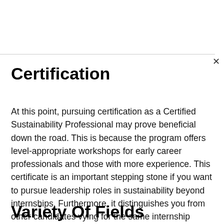Certification
At this point, pursuing certification as a Certified Sustainability Professional may prove beneficial down the road. This is because the program offers level-appropriate workshops for early career professionals and those with more experience. This certificate is an important stepping stone if you want to pursue leadership roles in sustainability beyond internships. Furthermore, it distinguishes you from other candidates vying for the same internship position as you.
Variety Of Fields